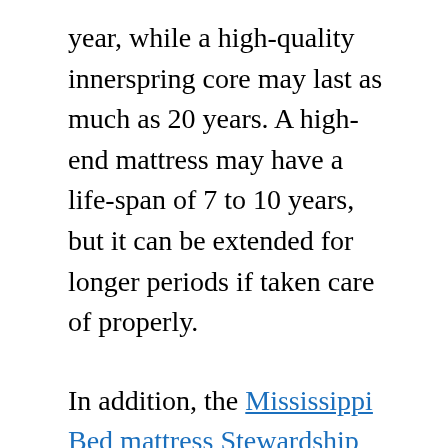year, while a high-quality innerspring core may last as much as 20 years. A high-end mattress may have a life-span of 7 to 10 years, but it can be extended for longer periods if taken care of properly.
In addition, the Mississippi Bed mattress Stewardship Act consists of provisions on how to recycle a mattress. This law was approved by the Executive Director of the Mississippi Department of Environmental Quality, which manages the bed mattress stewardship program. This law defines